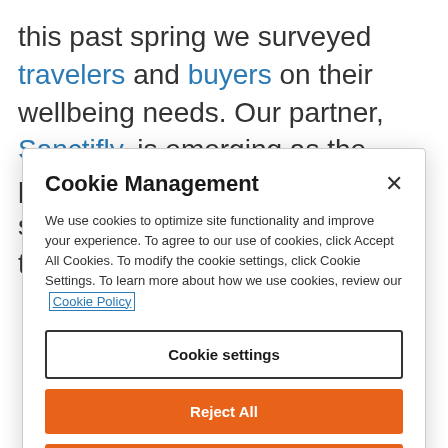this past spring we surveyed travelers and buyers on their wellbeing needs. Our partner, Sanctifly, is emerging as the premier provider in the wellbeing space. Imagine what we can do together to help make
Cookie Management
We use cookies to optimize site functionality and improve your experience. To agree to our use of cookies, click Accept All Cookies. To modify the cookie settings, click Cookie Settings. To learn more about how we use cookies, review our Cookie Policy
Cookie settings
Reject All
ACCEPT ALL COOKIES